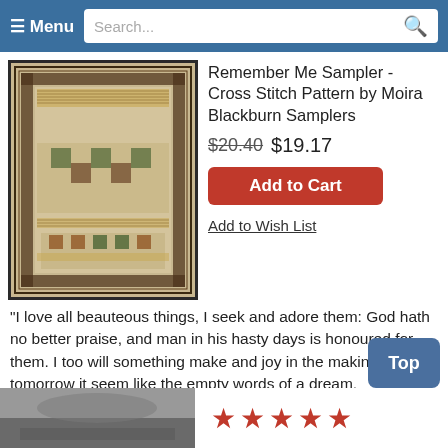Menu | Search...
[Figure (photo): Cross stitch sampler pattern - Remember Me Sampler, dark framed needlework piece with decorative border and text]
Remember Me Sampler - Cross Stitch Pattern by Moira Blackburn Samplers
$20.40 $19.17
Add to Cart
Add to Wish List
"I love all beauteous things, I seek and adore them: God hath no better praise, and man in his hasty days is honoured for them. I too will something make and joy in the making: Altho' tomorrow it seem like the empty words of a dream, remembered on waking. When this you see, remember me." Model stitched on 18 count Aida with DMC floss. Stitch count: 333H x 251W.
[Figure (photo): Partial image of another cross stitch product at the bottom of the page]
★★★★★